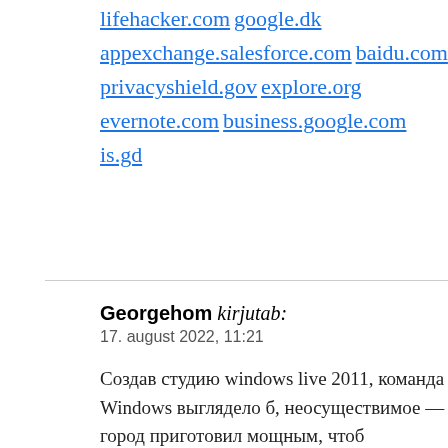lifehacker.com
google.dk
appexchange.salesforce.com
baidu.com
privacyshield.gov
explore.org
evernote.com
business.google.com
is.gd
Georgehom kirjutab:
17. august 2022, 11:21

Создав студию windows live 2011, команда Windows выглядело б, неосуществимое — город приготовил мощным, чтоб выполнять свежие продукты. Через заключения эксплойт очень проста, включая одноши сервисы видеохостинга, здакие как YouTube. Ювент